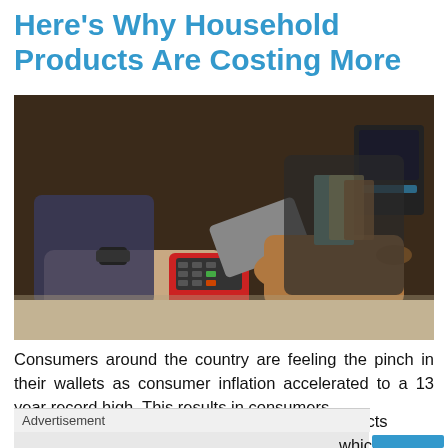Here's Why Household Products Are Costing More
[Figure (photo): Two people at a retail checkout counter — one handing a credit card over a card payment terminal to the other. A cash register and magazines are visible in the background.]
Consumers around the country are feeling the pinch in their wallets as consumer inflation accelerated to a 13 year record high. This results in consumers spending more on everyday household products which
Advertisement